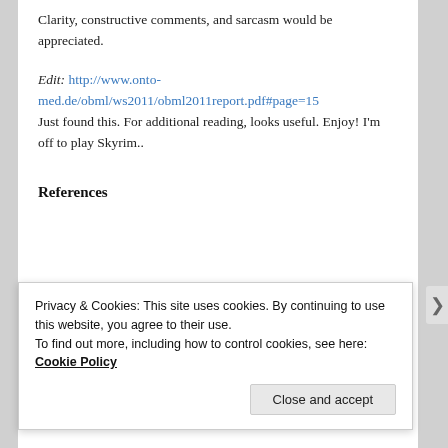Clarity, constructive comments, and sarcasm would be appreciated.
Edit: http://www.onto-med.de/obml/ws2011/obml2011report.pdf#page=15 Just found this. For additional reading, looks useful. Enjoy! I'm off to play Skyrim..
References
Privacy & Cookies: This site uses cookies. By continuing to use this website, you agree to their use.
To find out more, including how to control cookies, see here: Cookie Policy